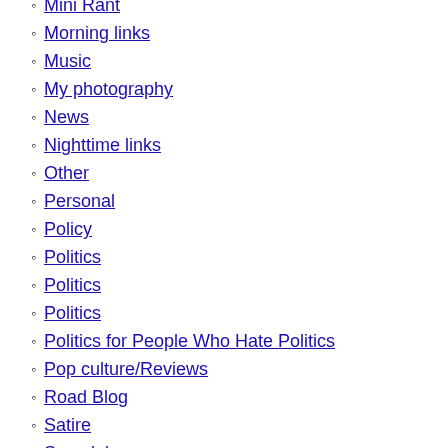Mini Rant
Morning links
Music
My photography
News
Nighttime links
Other
Personal
Policy
Politics
Politics
Politics
Politics for People Who Hate Politics
Pop culture/Reviews
Road Blog
Satire
Scandal
Shameless Plugs
Sports
Steigerwald Post
Steinbeck
Travel
Travel Writing
Travels Without Charley
Truth About Charley
Trucks/Autos